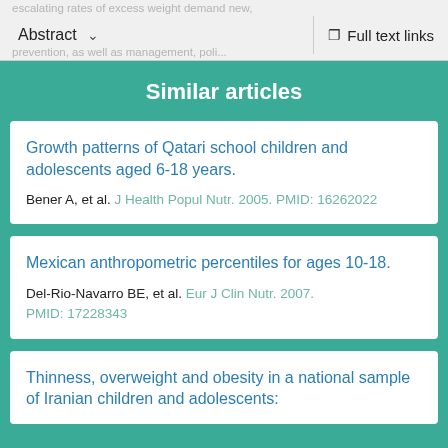Abstract | Full text links
Similar articles
Growth patterns of Qatari school children and adolescents aged 6-18 years. Bener A, et al. J Health Popul Nutr. 2005. PMID: 16262022
Mexican anthropometric percentiles for ages 10-18. Del-Rio-Navarro BE, et al. Eur J Clin Nutr. 2007. PMID: 17228343
Thinness, overweight and obesity in a national sample of Iranian children and adolescents: